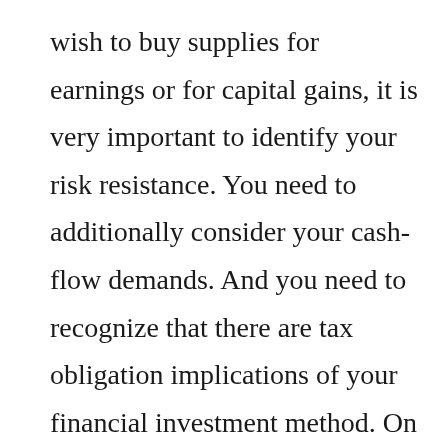wish to buy supplies for earnings or for capital gains, it is very important to identify your risk resistance. You need to additionally consider your cash-flow demands. And you need to recognize that there are tax obligation implications of your financial investment method. On top of that, you ought to compare brokers' broker agent charges and also motivations. In this manner, you can make an educated decision when it comes to your investments. Ultimately, it is up to you to